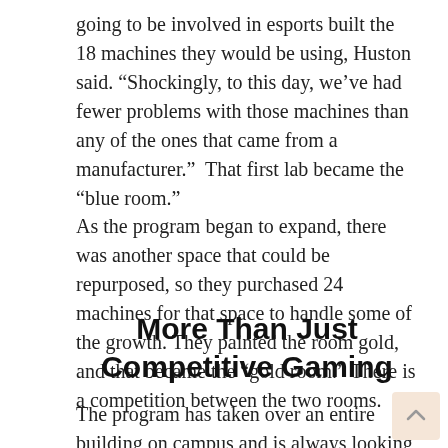going to be involved in esports built the 18 machines they would be using, Huston said. “Shockingly, to this day, we’ve had fewer problems with those machines than any of the ones that came from a manufacturer.”  That first lab became the “blue room.”
As the program began to expand, there was another space that could be repurposed, so they purchased 24 machines for that space to handle some of the growth. They painted the room gold, and that became the “gold room.” There is a competition between the two rooms.
More Than Just Competitive Gaming
The program has taken over an entire building on campus and is always looking to expand, Huston said.